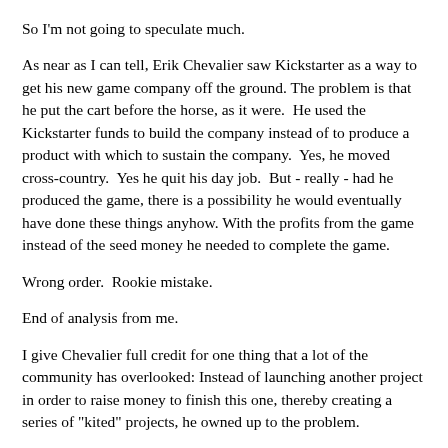So I'm not going to speculate much.
As near as I can tell, Erik Chevalier saw Kickstarter as a way to get his new game company off the ground. The problem is that he put the cart before the horse, as it were.  He used the Kickstarter funds to build the company instead of to produce a product with which to sustain the company.  Yes, he moved cross-country.  Yes he quit his day job.  But - really - had he produced the game, there is a possibility he would eventually have done these things anyhow. With the profits from the game instead of the seed money he needed to complete the game.
Wrong order.  Rookie mistake.
End of analysis from me.
I give Chevalier full credit for one thing that a lot of the community has overlooked: Instead of launching another project in order to raise money to finish this one, thereby creating a series of "kited" projects, he owned up to the problem.